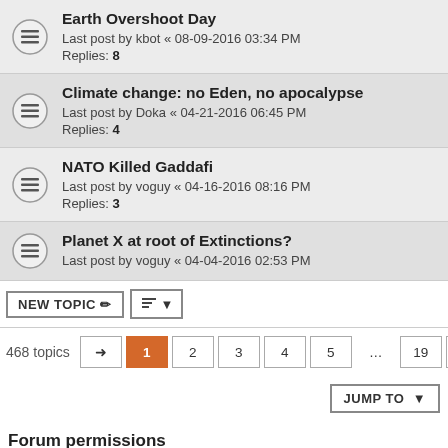Earth Overshoot Day
Last post by kbot « 08-09-2016 03:34 PM
Replies: 8
Climate change: no Eden, no apocalypse
Last post by Doka « 04-21-2016 06:45 PM
Replies: 4
NATO Killed Gaddafi
Last post by voguy « 04-16-2016 08:16 PM
Replies: 3
Planet X at root of Extinctions?
Last post by voguy « 04-04-2016 02:53 PM
468 topics  1 2 3 4 5 ... 19
Forum permissions
You cannot post new topics in this forum
You cannot reply to topics in this forum
You cannot edit your posts in this forum